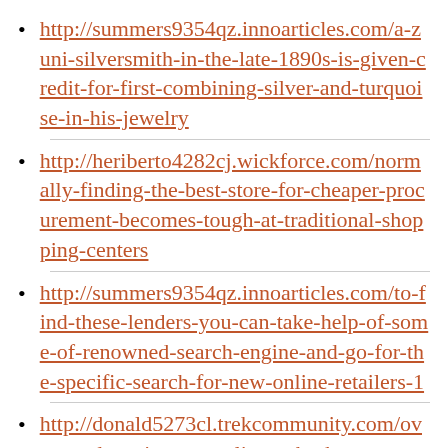http://summers9354qz.innoarticles.com/a-zuni-silversmith-in-the-late-1890s-is-given-credit-for-first-combining-silver-and-turquoise-in-his-jewelry
http://heriberto4282cj.wickforce.com/normally-finding-the-best-store-for-cheaper-procurement-becomes-tough-at-traditional-shopping-centers
http://summers9354qz.innoarticles.com/to-find-these-lenders-you-can-take-help-of-some-of-renowned-search-engine-and-go-for-the-specific-search-for-new-online-retailers-1
http://donald5273cl.trekcommunity.com/over-modern-times-suppliers-who-have-set-